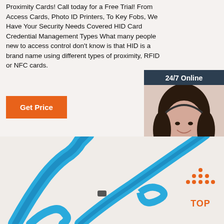Proximity Cards! Call today for a Free Trial! From Access Cards, Photo ID Printers, To Key Fobs, We Have Your Security Needs Covered HID Card Credential Management Types What many people new to access control don't know is that HID is a brand name using different types of proximity, RFID or NFC cards.
[Figure (other): Orange 'Get Price' button]
[Figure (other): Sidebar with dark background showing '24/7 Online' header, photo of smiling woman with headset, 'Click here for free chat!' text, and orange QUOTATION button]
[Figure (photo): Blue lanyards/ribbons on light background with orange TOP badge in bottom right corner]